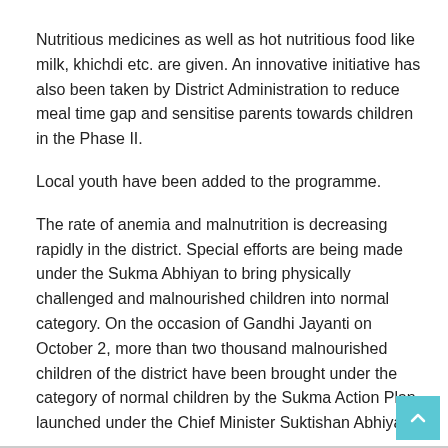Nutritious medicines as well as hot nutritious food like milk, khichdi etc. are given. An innovative initiative has also been taken by District Administration to reduce meal time gap and sensitise parents towards children in the Phase II.
Local youth have been added to the programme.
The rate of anemia and malnutrition is decreasing rapidly in the district. Special efforts are being made under the Sukma Abhiyan to bring physically challenged and malnourished children into normal category. On the occasion of Gandhi Jayanti on October 2, more than two thousand malnourished children of the district have been brought under the category of normal children by the Sukma Action Plan launched under the Chief Minister Suktishan Abhiyan.